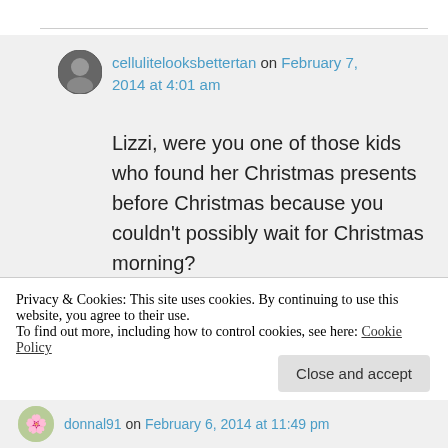cellulitelooksbettertan on February 7, 2014 at 4:01 am
Lizzi, were you one of those kids who found her Christmas presents before Christmas because you couldn't possibly wait for Christmas morning?
★ Like
Privacy & Cookies: This site uses cookies. By continuing to use this website, you agree to their use.
To find out more, including how to control cookies, see here: Cookie Policy
Close and accept
donnal91 on February 6, 2014 at 11:49 pm